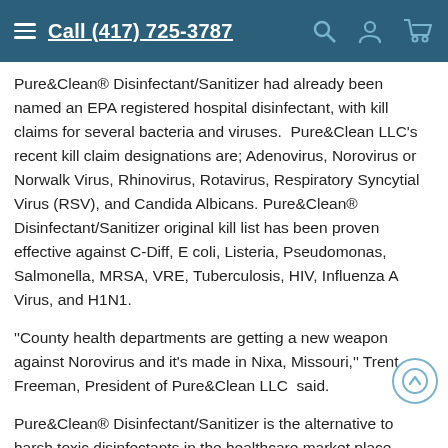Call (417) 725-3787
Pure&Clean® Disinfectant/Sanitizer had already been named an EPA registered hospital disinfectant, with kill claims for several bacteria and viruses.  Pure&Clean LLC's recent kill claim designations are; Adenovirus, Norovirus or Norwalk Virus, Rhinovirus, Rotavirus, Respiratory Syncytial Virus (RSV), and Candida Albicans. Pure&Clean® Disinfectant/Sanitizer original kill list has been proven effective against C-Diff, E coli, Listeria, Pseudomonas, Salmonella, MRSA, VRE, Tuberculosis, HIV, Influenza A Virus, and H1N1.
''County health departments are getting a new weapon against Norovirus and it's made in Nixa, Missouri,'' Trent Freeman, President of Pure&Clean LLC  said.
Pure&Clean® Disinfectant/Sanitizer is the alternative to harsh toxic disinfectants in the healthcare market place. Now, hospitals and long-term care facilities can rid themselves of MRSA, C-diff spores, TB, and Norovirus. Norovirus is also known as the ''puking disease,'' infamous for its fast transmittal and violent symptoms. Norovirus/Norwalk is also found the be one of...